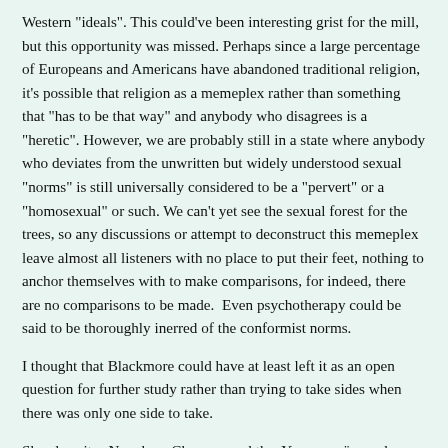Western "ideals". This could've been interesting grist for the mill, but this opportunity was missed. Perhaps since a large percentage of Europeans and Americans have abandoned traditional religion, it's possible that religion as a memeplex rather than something that "has to be that way" and anybody who disagrees is a "heretic". However, we are probably still in a state where anybody who deviates from the unwritten but widely understood sexual "norms" is still universally considered to be a "pervert" or a "homosexual" or such. We can't yet see the sexual forest for the trees, so any discussions or attempt to deconstruct this memeplex leave almost all listeners with no place to put their feet, nothing to anchor themselves with to make comparisons, for indeed, there are no comparisons to be made.  Even psychotherapy could be said to be thoroughly inerred of the conformist norms.
I thought that Blackmore could have at least left it as an open question for further study rather than trying to take sides when there was only one side to take.
She also cites Napoleon Chagnon and the  Yanomamö people as an example of human beings' warlike nature. Chagnon is considered by some to be a rank charlatan, having not only goaded the natives